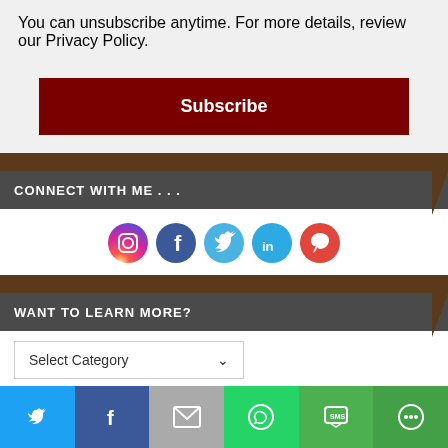You can unsubscribe anytime. For more details, review our Privacy Policy.
[Figure (other): Subscribe button (dark red/maroon rectangular button with white bold text 'Subscribe')]
CONNECT WITH ME . . .
[Figure (other): Row of 5 social media icons: Instagram, Facebook, Twitter, LinkedIn, Pinterest]
WANT TO LEARN MORE?
[Figure (other): Select Category dropdown widget]
[Figure (other): Social share bar at bottom with Twitter (light blue), Facebook (dark blue), Email (grey), WhatsApp (green), SMS (green), and another share icon (green)]